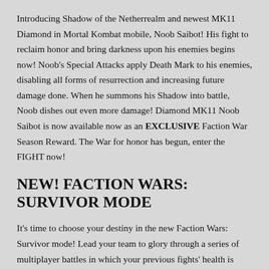Introducing Shadow of the Netherrealm and newest MK11 Diamond in Mortal Kombat mobile, Noob Saibot! His fight to reclaim honor and bring darkness upon his enemies begins now! Noob's Special Attacks apply Death Mark to his enemies, disabling all forms of resurrection and increasing future damage done. When he summons his Shadow into battle, Noob dishes out even more damage! Diamond MK11 Noob Saibot is now available now as an EXCLUSIVE Faction War Season Reward. The War for honor has begun, enter the FIGHT now!
NEW! FACTION WARS: SURVIVOR MODE
It's time to choose your destiny in the new Faction Wars: Survivor mode! Lead your team to glory through a series of multiplayer battles in which your previous fights' health is carried over to the next! Move up through the difficulties to earn additional Battle Points and earn your victory and the top of the Leaderboard.